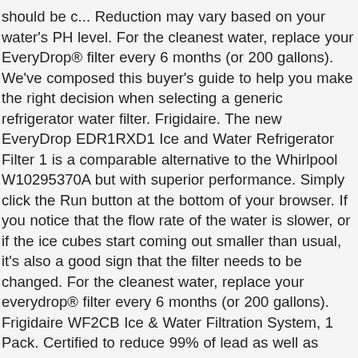should be c... Reduction may vary based on your water's PH level. For the cleanest water, replace your EveryDrop® filter every 6 months (or 200 gallons). We've composed this buyer's guide to help you make the right decision when selecting a generic refrigerator water filter. Frigidaire. The new EveryDrop EDR1RXD1 Ice and Water Refrigerator Filter 1 is a comparable alternative to the Whirlpool W10295370A but with superior performance. Simply click the Run button at the bottom of your browser. If you notice that the flow rate of the water is slower, or if the ice cubes start coming out smaller than usual, it's also a good sign that the filter needs to be changed. For the cleanest water, replace your everydrop® filter every 6 months (or 200 gallons). Frigidaire WF2CB Ice & Water Filtration System, 1 Pack. Certified to reduce 99% of lead as well as other potentially harmful contaminants, everydrop® filters offer convenient, filtered water for you and your family. Those include: Whirlpool, Maytag, KitchenAid, Jenn-Air, Amana, and the everydrop® Water Dispenser. Bluaqua BL-filter1